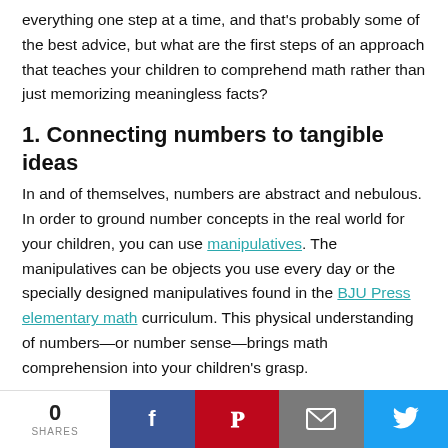everything one step at a time, and that's probably some of the best advice, but what are the first steps of an approach that teaches your children to comprehend math rather than just memorizing meaningless facts?
1. Connecting numbers to tangible ideas
In and of themselves, numbers are abstract and nebulous. In order to ground number concepts in the real world for your children, you can use manipulatives. The manipulatives can be objects you use every day or the specially designed manipulatives found in the BJU Press elementary math curriculum. This physical understanding of numbers—or number sense—brings math comprehension into your children's grasp.
2. Building a foundation for future learning
0 SHARES | Facebook | Pinterest | Email | Twitter